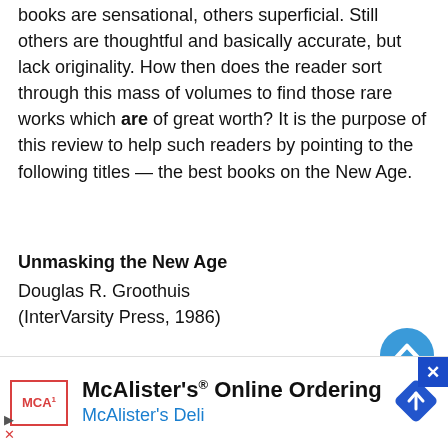books are sensational, others superficial. Still others are thoughtful and basically accurate, but lack originality. How then does the reader sort through this mass of volumes to find those rare works which are of great worth? It is the purpose of this review to help such readers by pointing to the following titles — the best books on the New Age.
Unmasking the New Age
Douglas R. Groothuis
(InterVarsity Press, 1986)
The first good Christian book on the New Age movement is still at the top of my list.
[Figure (other): Blue circular scroll-to-top button with white chevron/arrow pointing up]
[Figure (other): Advertisement banner: McAlister's Online Ordering / McAlister's Deli with logo and blue diamond navigation icon. Close button (X) in top-right corner.]